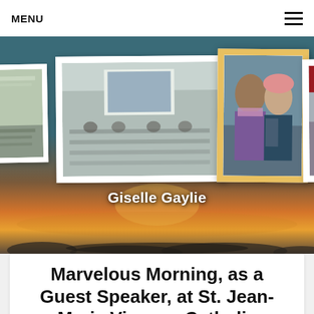MENU
[Figure (photo): Website banner with a carousel of event photos over a sunset beach background. Three framed photos visible: a classroom/event setting, two people posing together (one in a pink hat), and an auditorium crowd. Name label 'Giselle Gaylie' overlaid in white bold text.]
Marvelous Morning, as a Guest Speaker, at St. Jean-Marie Vianney Catholic